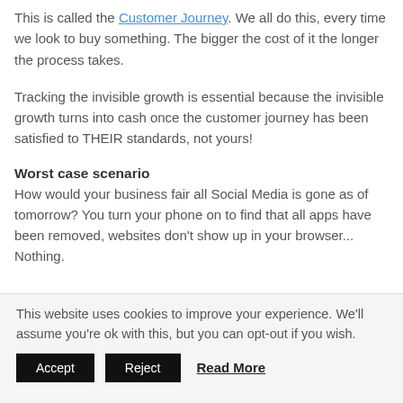This is called the Customer Journey. We all do this, every time we look to buy something. The bigger the cost of it the longer the process takes.
Tracking the invisible growth is essential because the invisible growth turns into cash once the customer journey has been satisfied to THEIR standards, not yours!
Worst case scenario
How would your business fair all Social Media is gone as of tomorrow? You turn your phone on to find that all apps have been removed, websites don't show up in your browser... Nothing.
This website uses cookies to improve your experience. We'll assume you're ok with this, but you can opt-out if you wish.